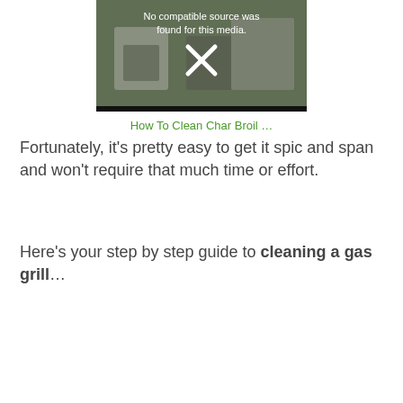[Figure (screenshot): Video player screenshot showing a grill being cleaned, with overlay text 'No compatible source was found for this media.' and a white X icon in the center. Below the video is a green link text: 'How To Clean Char Broil …']
Fortunately, it's pretty easy to get it spic and span and won't require that much time or effort.
Here's your step by step guide to cleaning a gas grill…